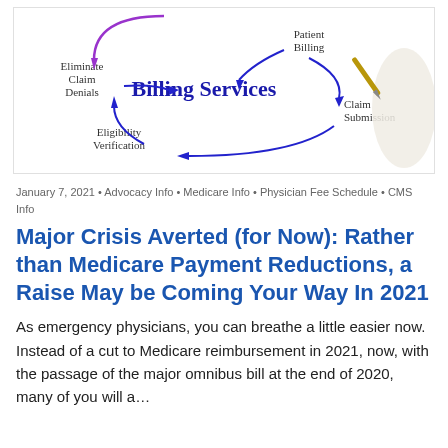[Figure (infographic): Billing Services cycle diagram showing arrows connecting: Patient Billing → Claim Submission → Eligibility Verification → Eliminate Claim Denials → back to center 'Billing Services'. A hand holding a pen points to the diagram from the right.]
January 7, 2021 • Advocacy Info • Medicare Info • Physician Fee Schedule • CMS Info
Major Crisis Averted (for Now): Rather than Medicare Payment Reductions, a Raise May be Coming Your Way In 2021
As emergency physicians, you can breathe a little easier now. Instead of a cut to Medicare reimbursement in 2021, now, with the passage of the major omnibus bill at the end of 2020, many of you will a...